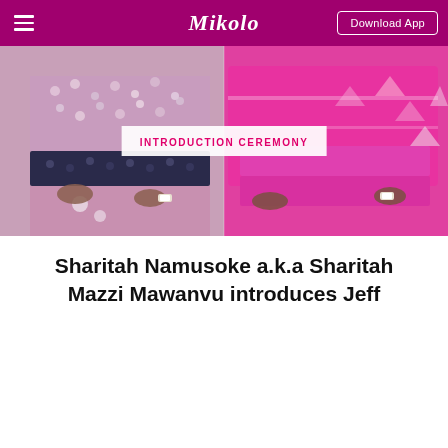Mikolo — Download App
[Figure (photo): Two women in colorful outfits at an introduction ceremony. Left person wears a sequined pink top with dark sequined waistband; right person wears a bright pink/magenta outfit with embellishments. Both are wearing watches.]
INTRODUCTION CEREMONY
Sharitah Namusoke a.k.a Sharitah Mazzi Mawanvu introduces Jeff